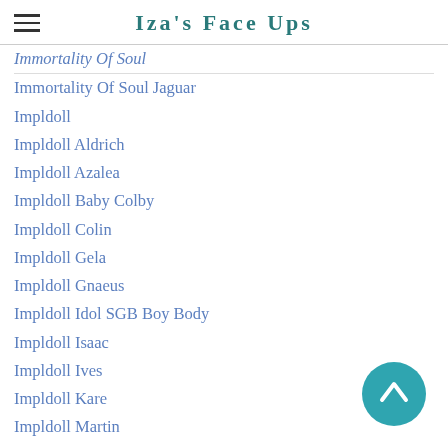Iza's Face Ups
Immortality Of Soul
Immortality Of Soul Jaguar
Impldoll
Impldoll Aldrich
Impldoll Azalea
Impldoll Baby Colby
Impldoll Colin
Impldoll Gela
Impldoll Gnaeus
Impldoll Idol SGB Boy Body
Impldoll Isaac
Impldoll Ives
Impldoll Kare
Impldoll Martin
Impldoll Tony
Inna Pavlova Smiling Fench Fox
IOS Jaguar
Inlahouse